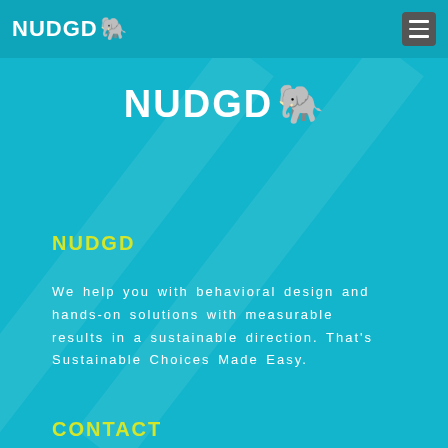NUDGD
[Figure (logo): NUDGD logo with elephant emoji, centered on teal background]
NUDGD
We help you with behavioral design and hands-on solutions with measurable results in a sustainable direction. That's Sustainable Choices Made Easy.
CONTACT